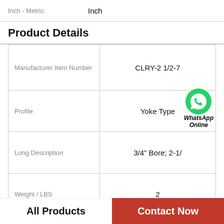|  |  |
| --- | --- |
| Inch - Metric: | Inch |
Product Details
| Field | Value |
| --- | --- |
| Manufacturer Item Number | CLRY-2 1/2-7 |
| Profile | Yoke Type |
| Long Description | 3/4" Bore; 2-1/... |
| Weight / LBS | 2 |
| Category | Cam Follower and Tra |
| Minimum Buy |  |
WhatsApp Online
All Products | Contact Now